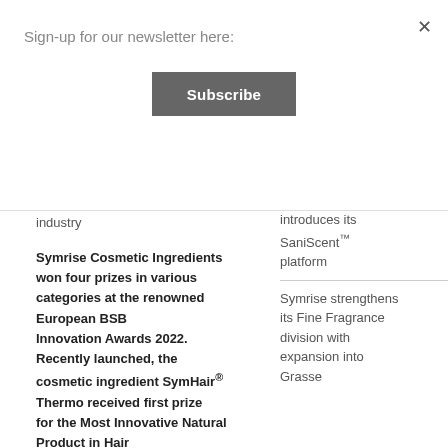Sign-up for our newsletter here:
Subscribe
×
industry
introduces its SaniScent™ platform
Symrise Cosmetic Ingredients won four prizes in various categories at the renowned European BSB Innovation Awards 2022. Recently launched, the cosmetic ingredient SymHair® Thermo received first prize for the Most Innovative Natural Product in Hair Care. In the category "Applied Concepts", the new sustainability digital app Track4Trust™ won first
Symrise strengthens its Fine Fragrance division with expansion into Grasse